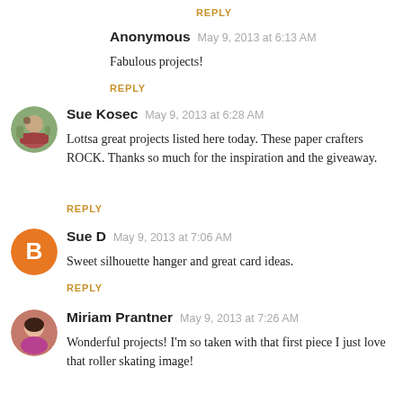REPLY
Anonymous  May 9, 2013 at 6:13 AM
Fabulous projects!
REPLY
[Figure (photo): Avatar of Sue Kosec - outdoor photo]
Sue Kosec  May 9, 2013 at 6:28 AM
Lottsa great projects listed here today. These paper crafters ROCK. Thanks so much for the inspiration and the giveaway.
REPLY
[Figure (logo): Blogger B logo avatar for Sue D]
Sue D  May 9, 2013 at 7:06 AM
Sweet silhouette hanger and great card ideas.
REPLY
[Figure (photo): Avatar of Miriam Prantner - portrait photo]
Miriam Prantner  May 9, 2013 at 7:26 AM
Wonderful projects! I'm so taken with that first piece I just love that roller skating image!